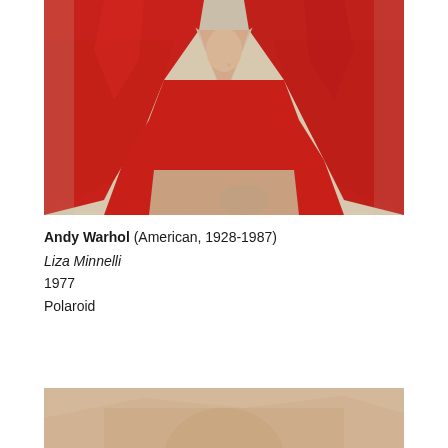[Figure (photo): Cropped photograph showing a person wearing a bright red V-neck top or dress, with hands visible at the bottom. Cream/beige background visible at top edges. Likely a Polaroid photograph by Andy Warhol of Liza Minnelli, 1977.]
Andy Warhol (American, 1928-1987)
Liza Minnelli
1977
Polaroid
[Figure (photo): Partial view of another photograph at the bottom of the page, partially cropped.]